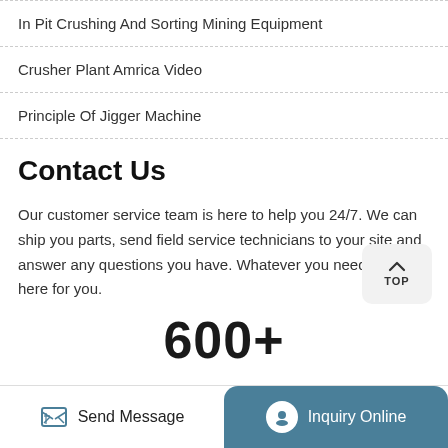In Pit Crushing And Sorting Mining Equipment
Crusher Plant Amrica Video
Principle Of Jigger Machine
Contact Us
Our customer service team is here to help you 24/7. We can ship you parts, send field service technicians to your site and answer any questions you have. Whatever you need, we are here for you.
600+
Send Message
Inquiry Online